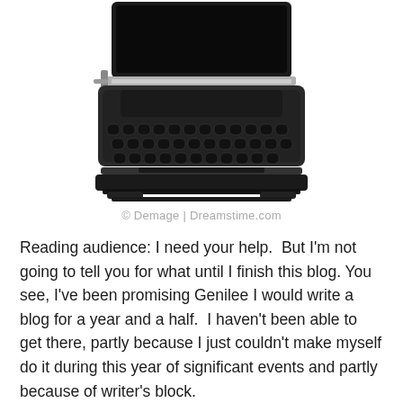[Figure (photo): A vintage black typewriter photographed from above on a white background, showing the keyboard and paper feed mechanism]
© Demage | Dreamstime.com
Reading audience: I need your help.  But I'm not going to tell you for what until I finish this blog. You see, I've been promising Genilee I would write a blog for a year and a half.  I haven't been able to get there, partly because I just couldn't make myself do it during this year of significant events and partly because of writer's block.